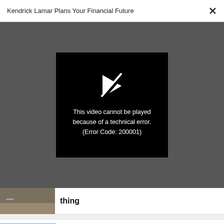Kendrick Lamar Plans Your Financial Future
[Figure (screenshot): Video player showing error: 'This video cannot be played because of a technical error. (Error Code: 200001)' on black background with broken play icon, over dark gray overlay.]
thing
CO-DESIGN
A Boeing 747 burns one ton of fuel while taxiing. This electric towing system could help